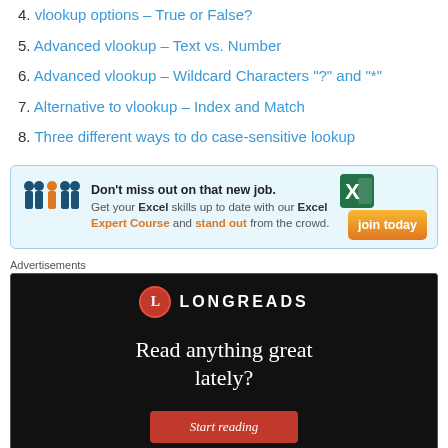4. vlookup options – True or False?
5. Advanced vlookup – Text vs. Number
6. Advanced vlookup – Wildcard Characters "?" and "*"
7. Alternative to vlookup – Index and Match
8. Three different ways to do case-sensitive lookup
[Figure (infographic): Advertisement banner: people silhouettes graphic, text 'Don't miss out on that new job. Get your Excel skills up to date with our Excel Expert Course and stand out from the crowd.' with orange 'join today' button and Excel icon]
Advertisements
[Figure (infographic): Longreads advertisement: black background with Longreads logo (red circle with L), text 'Read anything great lately?' and a red 'Start reading' button]